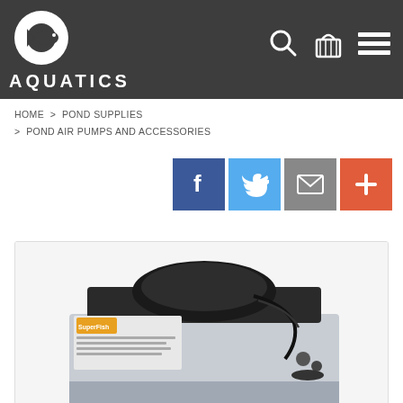CD AQUATICS
HOME > POND SUPPLIES > POND AIR PUMPS AND ACCESSORIES
[Figure (screenshot): Social sharing buttons: Facebook (blue), Twitter (light blue), Email (grey), Plus (orange-red)]
[Figure (photo): Product image of a SuperFish pond air pump in retail packaging, showing the device and accessories on a light background]